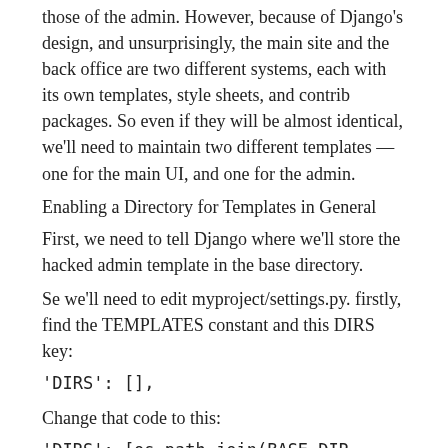As mentioned, we can override templates, including those of the admin. However, because of Django’s design, and unsurprisingly, the main site and the back office are two different systems, each with its own templates, style sheets, and contrib packages. So even if they will be almost identical, we’ll need to maintain two different templates — one for the main UI, and one for the admin.
Enabling a Directory for Templates in General
First, we need to tell Django where we’ll store the hacked admin template in the base directory.
Se we’ll need to edit myproject/settings.py. firstly, find the TEMPLATES constant and this DIRS key:
‘DIRS’: [],
Change that code to this:
‘DIRS’: [os.path.join(BASE_DIR, ‘templates’)],